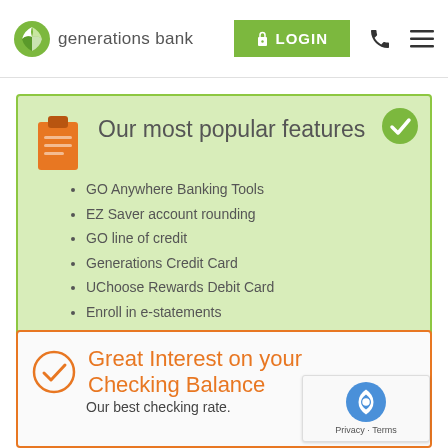generations bank | LOGIN
Our most popular features
GO Anywhere Banking Tools
EZ Saver account rounding
GO line of credit
Generations Credit Card
UChoose Rewards Debit Card
Enroll in e-statements
Great Interest on your Checking Balance
Our best checking rate.